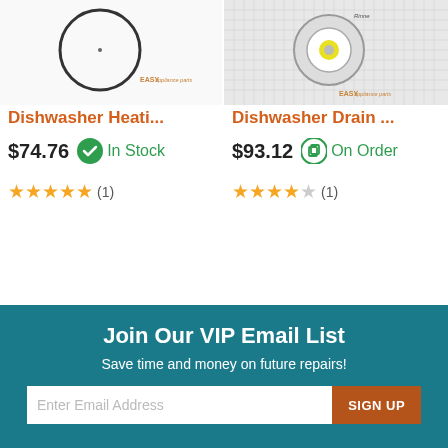[Figure (photo): Product image of dishwasher heating element on white/grid background with Easy Appliance Parts watermark]
Dishwasher Heati...
$74.76  In Stock
★★★★★ (1)
[Figure (photo): Product image of dishwasher drain pump on grid background with Easy Appliance Parts watermark]
Dishwasher Drain ...
$93.12  On Order
★★★★☆ (1)
Join Our VIP Email List
Save time and money on future repairs!
Enter Email Address  SIGN UP